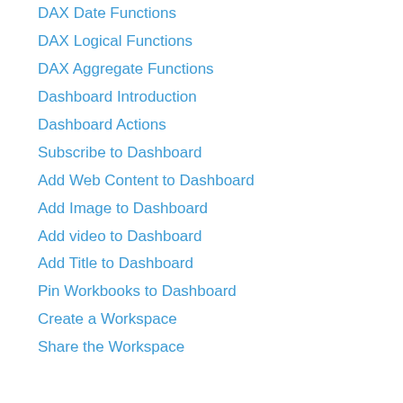DAX Date Functions
DAX Logical Functions
DAX Aggregate Functions
Dashboard Introduction
Dashboard Actions
Subscribe to Dashboard
Add Web Content to Dashboard
Add Image to Dashboard
Add video to Dashboard
Add Title to Dashboard
Pin Workbooks to Dashboard
Create a Workspace
Share the Workspace